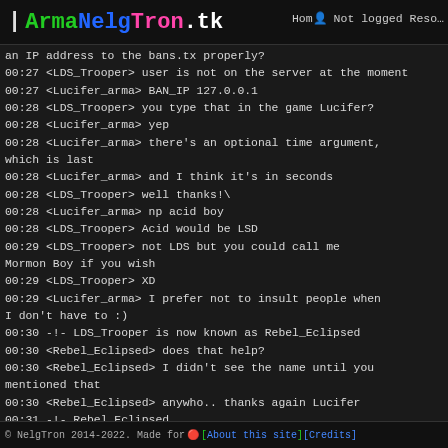| ArmaNelgTron.tk  Home  Not logged  Resources
an IP address to the bans.tx properly?
00:27 <LDS_Trooper> user is not on the server at the moment
00:27 <Lucifer_arma> BAN_IP 127.0.0.1
00:28 <LDS_Trooper> you type that in the game Lucifer?
00:28 <Lucifer_arma> yep
00:28 <Lucifer_arma> there's an optional time argument, which is last
00:28 <Lucifer_arma> and I think it's in seconds
00:28 <LDS_Trooper> well thanks!\
00:28 <Lucifer_arma> np acid boy
00:28 <LDS_Trooper> Acid would be LSD
00:29 <LDS_Trooper> not LDS but you could call me Mormon Boy if you wish
00:29 <LDS_Trooper> XD
00:29 <Lucifer_arma> I prefer not to insult people when I don't have to :)
00:30 -!- LDS_Trooper is now known as Rebel_Eclipsed
00:30 <Rebel_Eclipsed> does that help?
00:30 <Rebel_Eclipsed> I didn't see the name until you mentioned that
00:30 <Rebel_Eclipsed> anywho.. thanks again Lucifer
00:31 -!- Rebel_Eclipsed [i=LDS_Troo@S010600111a3f762b.ed.shawcable.net] has quit [Client Quit]
00:32 -!- deja_vu [n=deja_vu@HSI-KBW-085-216-060-101.hsi.kabelbw.de] has quit ["*wusel*"]
© NelgTron 2014-2022. Made for [About this site] [Credits]